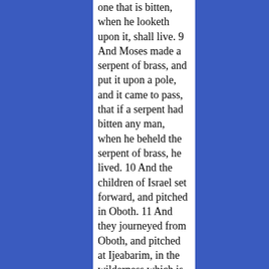one that is bitten, when he looketh upon it, shall live. 9 And Moses made a serpent of brass, and put it upon a pole, and it came to pass, that if a serpent had bitten any man, when he beheld the serpent of brass, he lived. 10 And the children of Israel set forward, and pitched in Oboth. 11 And they journeyed from Oboth, and pitched at Ijeabarim, in the wilderness which is before Moab, toward the sunrising. 12 From thence they removed,